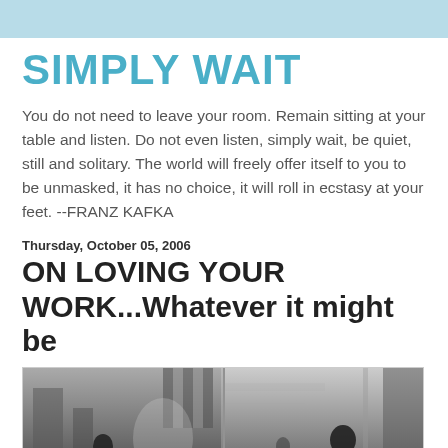SIMPLY WAIT
You do not need to leave your room. Remain sitting at your table and listen. Do not even listen, simply wait, be quiet, still and solitary. The world will freely offer itself to you to be unmasked, it has no choice, it will roll in ecstasy at your feet. --FRANZ KAFKA
Thursday, October 05, 2006
ON LOVING YOUR WORK...Whatever it might be
[Figure (photo): Black and white composite photo showing street scenes with people walking in an urban environment]